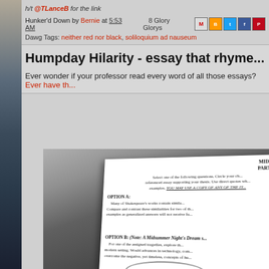h/t @TLanceB for the link
Hunker'd Down by Bernie at 5:53 AM   8 Glory Glorys
Dawg Tags: neither red nor black, soliloquium ad nauseum
Humpday Hilarity - essay that rhyme...
Ever wonder if your professor read every word of all those essays? Ever have th...
[Figure (photo): Photo of a midterm exam paper on a dark background showing MIDTERM EXAM PART 2 (70 points), with Option A about Shakespeare and Option B about A Midsummer Night's Dream]